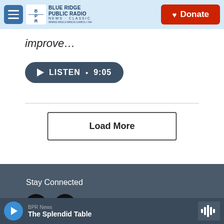[Figure (logo): Blue Ridge Public Radio logo with hamburger menu and Donate button]
improve…
[Figure (other): Listen button with play icon and duration 9:05]
[Figure (other): Load More button]
Stay Connected
[Figure (other): Instagram and LinkedIn social media icons]
© 2022 Blue Ridge Public Radio
[Figure (other): Audio player bar showing BPR News - The Splendid Table with play button and waveform icon]